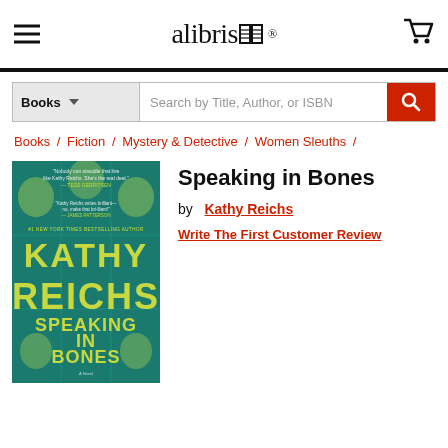alibris
Books | Search by Title, Author, or ISBN
Books / Fiction / Mystery & Detective / Women Sleuths /
[Figure (photo): Book cover of Speaking in Bones by Kathy Reichs — teal/green background with skulls and the author name KATHY REICHS in large bold letters, subtitle SPEAKING IN BONES below]
Speaking in Bones
by  Kathy Reichs
Write The First Customer Review